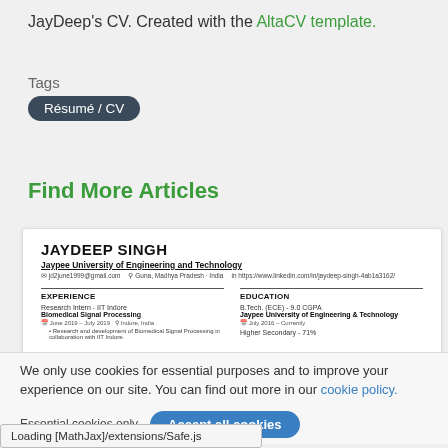JayDeep's CV. Created with the AltaCV template.
Tags
Résumé / CV
Find More Articles
[Figure (screenshot): Preview of JayDeep Singh's CV showing name, university, experience (Research Intern - IIT Indore, Biomedical Signal Processing) and education sections.]
We only use cookies for essential purposes and to improve your experience on our site. You can find out more in our cookie policy.
Essential cookies only   Accept all cookies
Loading [MathJax]/extensions/Safe.js